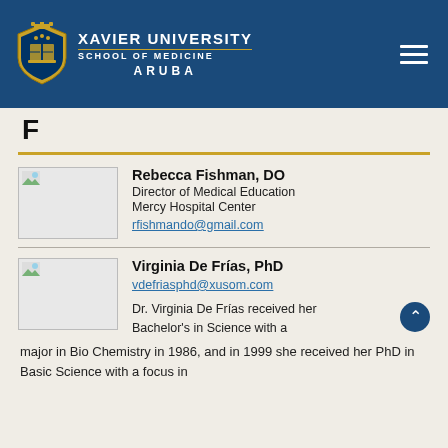Xavier University School of Medicine Aruba
F
Rebecca Fishman, DO
Director of Medical Education
Mercy Hospital Center
rfishmando@gmail.com
Virginia De Frías, PhD
vdefriasphd@xusom.com
Dr. Virginia De Frías received her Bachelor's in Science with a major in Bio Chemistry in 1986, and in 1999 she received her PhD in Basic Science with a focus in